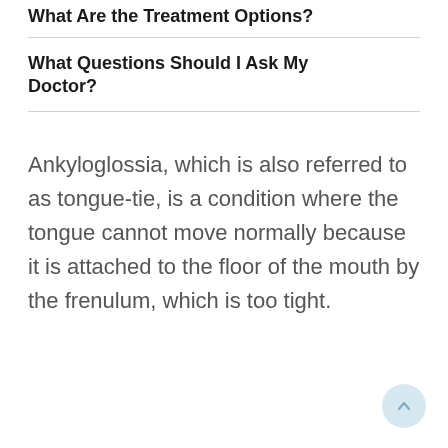What Are the Treatment Options?
What Questions Should I Ask My Doctor?
Ankyloglossia, which is also referred to as tongue-tie, is a condition where the tongue cannot move normally because it is attached to the floor of the mouth by the frenulum, which is too tight.